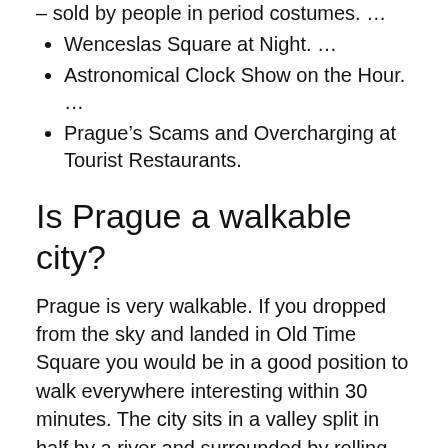– sold by people in period costumes. …
Wenceslas Square at Night. …
Astronomical Clock Show on the Hour. …
Prague's Scams and Overcharging at Tourist Restaurants.
Is Prague a walkable city?
Prague is very walkable. If you dropped from the sky and landed in Old Time Square you would be in a good position to walk everywhere interesting within 30 minutes. The city sits in a valley split in half by a river and surrounded by rolling hills. The encircling hills forced compactness on the city builders.